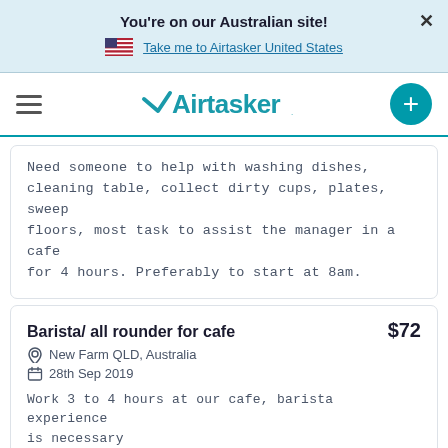You're on our Australian site!
Take me to Airtasker United States
[Figure (logo): Airtasker logo with hamburger menu and plus button]
Need someone to help with washing dishes, cleaning table, collect dirty cups, plates, sweep floors, most task to assist the manager in a cafe for 4 hours. Preferably to start at 8am.
Barista/ all rounder for cafe
$72
New Farm QLD, Australia
28th Sep 2019
Work 3 to 4 hours at our cafe, barista experience is necessary